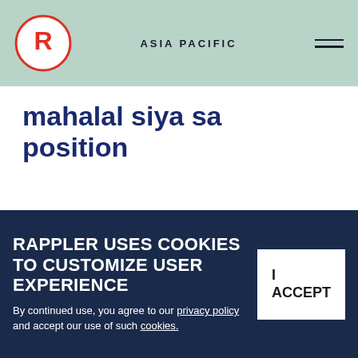ASIA PACIFIC
mahalal siya sa position
NAJIB RAZAK
Malaysian ex-prime minister Najib goes
[Figure (photo): Photo of Najib Razak wearing a face mask, surrounded by people]
RAPPLER USES COOKIES TO CUSTOMIZE USER EXPERIENCE
By continued use, you agree to our privacy policy and accept our use of such cookies.